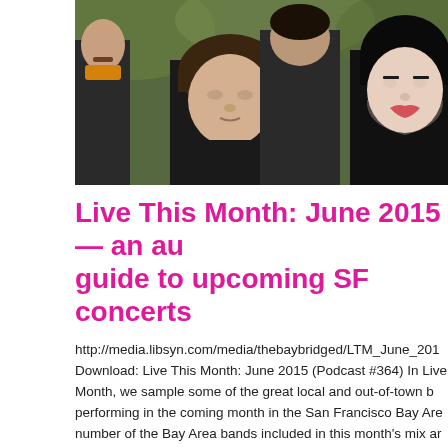[Figure (photo): Group photo of a band, multiple young people in dark/leather jackets, shot outdoors with greenery in background]
Live This Month: June 2015 — an audio guide to upcoming SF concerts
http://media.libsyn.com/media/thebaybridged/LTM_June_201... Download: Live This Month: June 2015 (Podcast #364) In Live This Month, we sample some of the great local and out-of-town bands performing in the coming month in the San Francisco Bay Area. A number of the Bay Area bands included in this month's mix are celebrating the release of long-overdue albums, although no one embodies that quite as much as SF band Acid King. The stone...